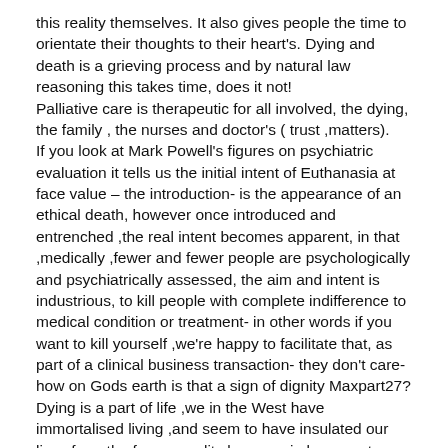this reality themselves. It also gives people the time to orientate their thoughts to their heart's. Dying and death is a grieving process and by natural law reasoning this takes time, does it not! Palliative care is therapeutic for all involved, the dying, the family , the nurses and doctor's ( trust ,matters). If you look at Mark Powell's figures on psychiatric evaluation it tells us the initial intent of Euthanasia at face value – the introduction- is the appearance of an ethical death, however once introduced and entrenched ,the real intent becomes apparent, in that ,medically ,fewer and fewer people are psychologically and psychiatrically assessed, the aim and intent is industrious, to kill people with complete indifference to medical condition or treatment- in other words if you want to kill yourself ,we're happy to facilitate that, as part of a clinical business transaction- they don't care- how on Gods earth is that a sign of dignity Maxpart27? Dying is a part of life ,we in the West have immortalised living ,and seem to have insulated our lives from the former reality because in large part we have turned our backs on the unpleasant truth about life and living as is known by God...